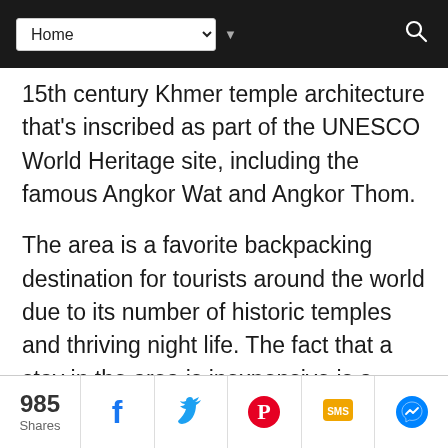Home [dropdown] [search]
15th century Khmer temple architecture that's inscribed as part of the UNESCO World Heritage site, including the famous Angkor Wat and Angkor Thom.
The area is a favorite backpacking destination for tourists around the world due to its number of historic temples and thriving night life. The fact that a stay in the area is inexpensive is a bonus.
985 Shares | Facebook | Twitter | Pinterest | SMS | Messenger